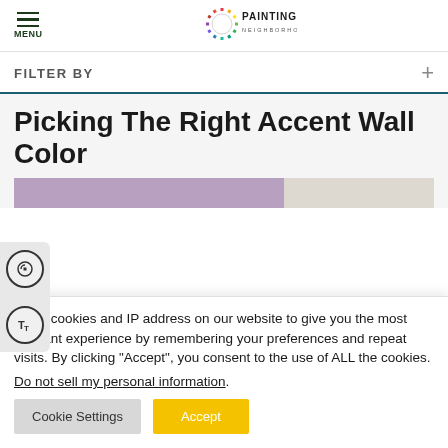MENU | Painting Masters logo
FILTER BY
Picking The Right Accent Wall Color
[Figure (photo): Partial view of a room with purple and neutral walls]
e use cookies and IP address on our website to give you the most relevant experience by remembering your preferences and repeat visits. By clicking "Accept", you consent to the use of ALL the cookies. Do not sell my personal information.
Cookie Settings | Accept